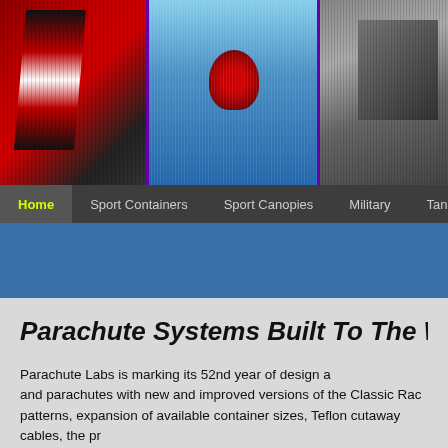[Figure (photo): Three-panel website header image showing: left panel - person in red skydiving suit from behind; center panel - two skydivers in freefall against blue sky (purple border); right panel - military aircraft on deck]
Home | Sport Containers | Sport Canopies | Military | Tandem
[Figure (screenshot): Blue banner/hero area below navigation bar]
Parachute Systems Built To The Wor
Parachute Labs is marking its 52nd year of design a and parachutes with new and improved versions of the Classic Rac patterns, expansion of available container sizes, Teflon cutaway cables, the pr – all of these things and more make Racer the most customized container ava
Since the introduction of our game-changing FireBolt – the first true elliptical c earned the reputation of being the most versatile and Best All Around canopy f production methods and it shows in the current generation of FireBolt 9-Cell E